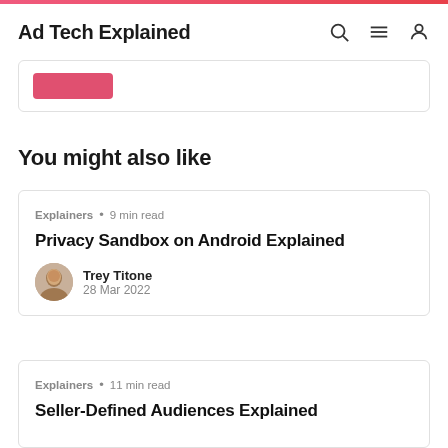Ad Tech Explained
You might also like
Privacy Sandbox on Android Explained
Explainers • 9 min read
Trey Titone
28 Mar 2022
Explainers • 11 min read
Seller-Defined Audiences Explained